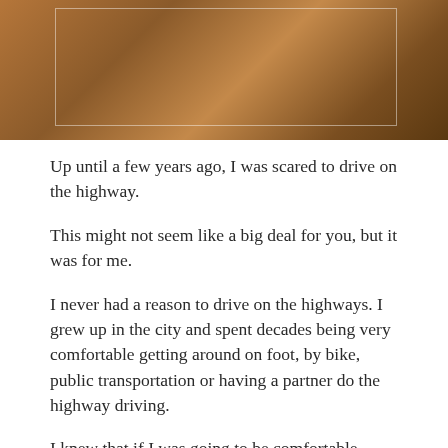[Figure (photo): Dark warm-toned photograph, likely of a car interior or road scene, with a semi-transparent rectangular overlay border in the center]
Up until a few years ago, I was scared to drive on the highway.
This might not seem like a big deal for you, but it was for me.
I never had a reason to drive on the highways. I grew up in the city and spent decades being very comfortable getting around on foot, by bike, public transportation or having a partner do the highway driving.
I knew that if I was going to be comfortable driving on the highway, I would need to buy my own car, and have a good reason to drive on the highways.
It took getting divorced for me to get my first car.
Buying a car was more daunting for me than the